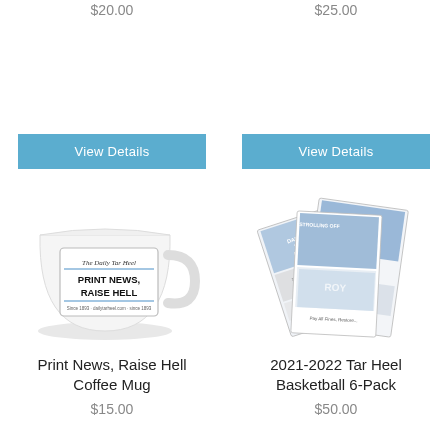$20.00
View Details
[Figure (illustration): White coffee mug with The Daily Tar Heel logo and text 'PRINT NEWS, RAISE HELL']
Print News, Raise Hell Coffee Mug
$15.00
$25.00
View Details
[Figure (illustration): Collection of six Daily Tar Heel newspaper front pages fanned out, featuring basketball coverage]
2021-2022 Tar Heel Basketball 6-Pack
$50.00